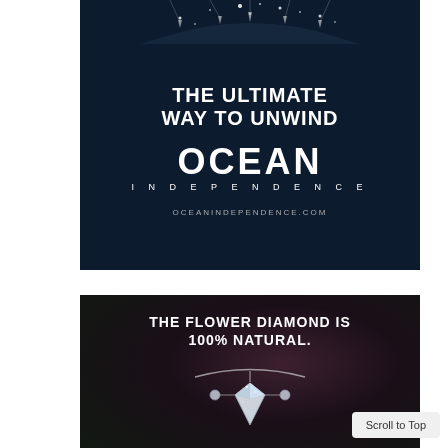[Figure (illustration): Advertisement for Ocean Independence yacht charter company. Dark navy background with sparkle/boat imagery at top, bold white headline 'THE ULTIMATE WAY TO UNWIND', large 'OCEAN INDEPENDENCE' branding, and website URL 'OCEANINDEPENDENCE.COM'.]
[Figure (illustration): Advertisement showing jewelry/diamond product on dark floral background with text 'THE FLOWER DIAMOND IS 100% NATURAL.' and diamond jewelry image below.]
Scroll to Top